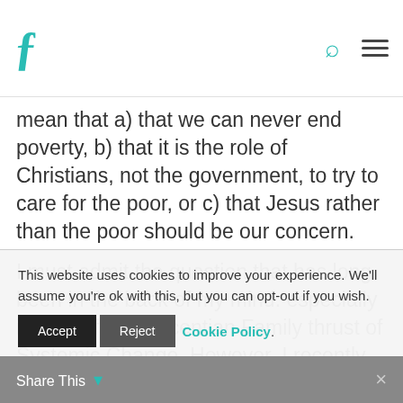F [logo] [search icon] [menu icon]
mean that a) that we can never end poverty, b) that it is the role of Christians, not the government, to try to care for the poor, or c) that Jesus rather than the poor should be our concern.
I must admit the question that has long been in the back of my mind. especially in light of the Vincentian Family thrust of Systemic Change. However, I recently read “Understanding “the poor will
This website uses cookies to improve your experience. We'll assume you're ok with this, but you can opt-out if you wish.
Accept  Reject  Cookie Policy.
Share This ▾ ×